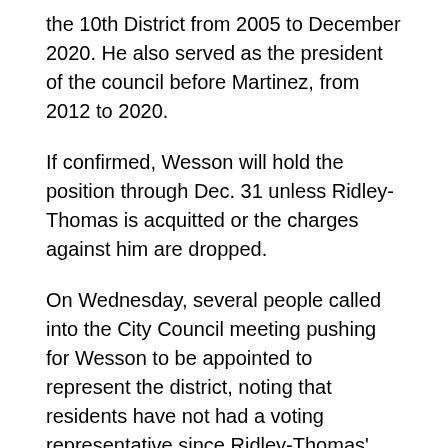the 10th District from 2005 to December 2020. He also served as the president of the council before Martinez, from 2012 to 2020.
If confirmed, Wesson will hold the position through Dec. 31 unless Ridley-Thomas is acquitted or the charges against him are dropped.
On Wednesday, several people called into the City Council meeting pushing for Wesson to be appointed to represent the district, noting that residents have not had a voting representative since Ridley-Thomas' suspension on Oct. 20.
In a statement to City News Service, Ridley-Thomas' attorney Michael Proctor opposed the appointment, calling it “premature” and “anti-democratic.”
“Since day one, Mark Ridley-Thomas has pledged his